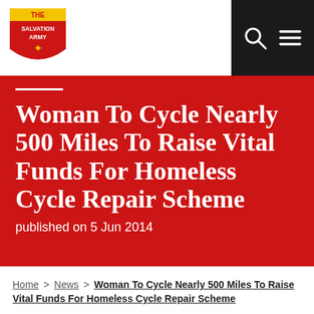[Figure (logo): The Salvation Army shield logo in red and yellow, top left of page]
[Figure (other): Dark navigation bar with search icon (magnifying glass) and hamburger menu icon]
Woman To Cycle Nearly 500 Miles To Raise Vital Funds For Homeless Cycle Repair Scheme
published on 5 Jun 2014
Home > News > Woman To Cycle Nearly 500 Miles To Raise Vital Funds For Homeless Cycle Repair Scheme